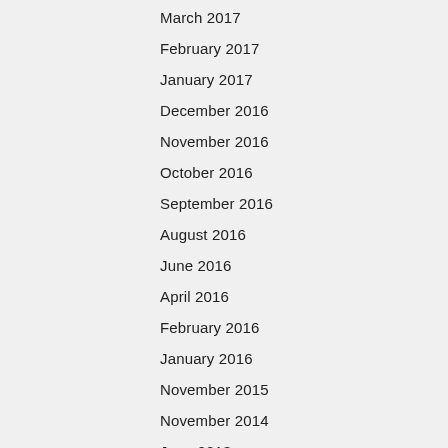March 2017
February 2017
January 2017
December 2016
November 2016
October 2016
September 2016
August 2016
June 2016
April 2016
February 2016
January 2016
November 2015
November 2014
June 2013
April 2012